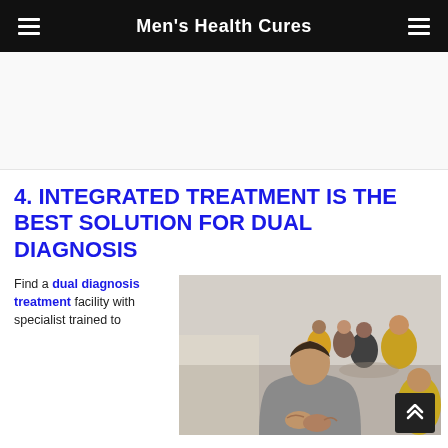Men's Health Cures
4. INTEGRATED TREATMENT IS THE BEST SOLUTION FOR DUAL DIAGNOSIS
Find a dual diagnosis treatment facility with specialist trained to
[Figure (photo): Group therapy session — people sitting in a circle, one person in foreground with hands clasped]